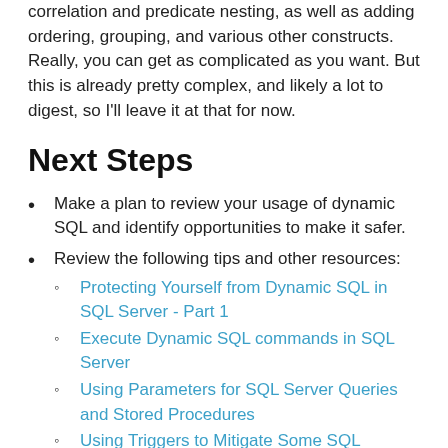correlation and predicate nesting, as well as adding ordering, grouping, and various other constructs. Really, you can get as complicated as you want. But this is already pretty complex, and likely a lot to digest, so I'll leave it at that for now.
Next Steps
Make a plan to review your usage of dynamic SQL and identify opportunities to make it safer.
Review the following tips and other resources:
Protecting Yourself from Dynamic SQL in SQL Server - Part 1
Execute Dynamic SQL commands in SQL Server
Using Parameters for SQL Server Queries and Stored Procedures
Using Triggers to Mitigate Some SQL Injection Effects
SQL Injection References Part...